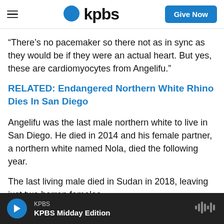kpbs | Give Now
“There’s no pacemaker so there not as in sync as they would be if they were an actual heart. But yes, these are cardiomyocytes from Angelifu.”
RELATED: Endangered Northern White Rhino Dies In San Diego
Angelifu was the last male northern white to live in San Diego. He died in 2014 and his female partner, a northern white named Nola, died the following year.
The last living male died in Sudan in 2018, leaving just two barren females.
KPBS | KPBS Midday Edition